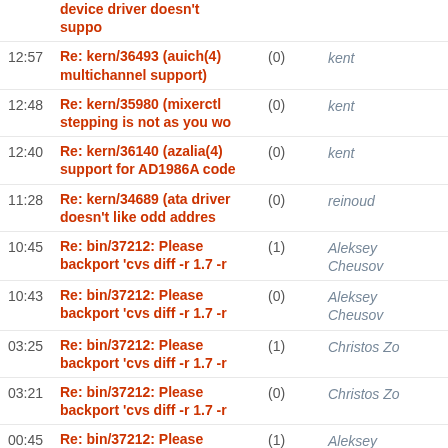device driver doesn't suppo
12:57 Re: kern/36493 (auich(4) multichannel support) (0) kent
12:48 Re: kern/35980 (mixerctl stepping is not as you wo (0) kent
12:40 Re: kern/36140 (azalia(4) support for AD1986A code (0) kent
11:28 Re: kern/34689 (ata driver doesn't like odd addres (0) reinoud
10:45 Re: bin/37212: Please backport 'cvs diff -r 1.7 -r (1) Aleksey Cheusov
10:43 Re: bin/37212: Please backport 'cvs diff -r 1.7 -r (0) Aleksey Cheusov
03:25 Re: bin/37212: Please backport 'cvs diff -r 1.7 -r (1) Christos Zo
03:21 Re: bin/37212: Please backport 'cvs diff -r 1.7 -r (0) Christos Zo
00:45 Re: bin/37212: Please backport 'cvs diff -r 1.7 -r (1) Aleksey Cheusov